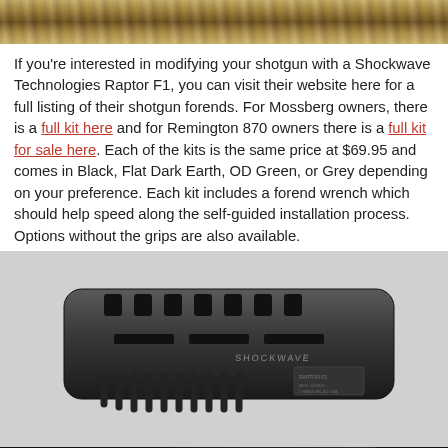[Figure (photo): Top banner photo of dry grass/hay background]
If you're interested in modifying your shotgun with a Shockwave Technologies Raptor F1, you can visit their website here for a full listing of their shotgun forends. For Mossberg owners, there is a full kit here and for Remington 870 owners there is a full kit for sale here. Each of the kits is the same price at $69.95 and comes in Black, Flat Dark Earth, OD Green, or Grey depending on your preference. Each kit includes a forend wrench which should help speed along the self-guided installation process. Options without the grips are also available.
[Figure (photo): Close-up product photo of a black Shockwave Technologies Raptor F1 shotgun forend/handguard with ventilation slots and finger grooves]
[Figure (photo): Advertisement banner for Springfield Armory SAINT rifle, showing MSRP starting at $943.00 with Learn More button and reCAPTCHA badge]